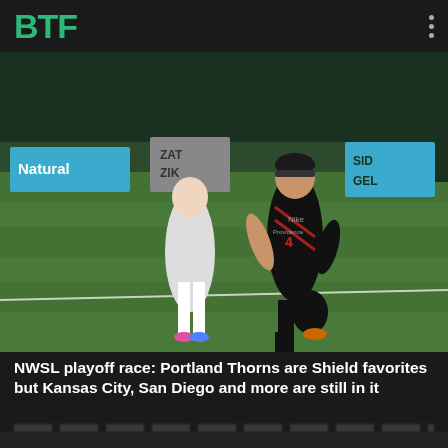BTF
[Figure (photo): Soccer player in black and red Portland Thorns uniform running on green field, another player in white uniform visible in background]
NWSL playoff race: Portland Thorns are Shield favorites but Kansas City, San Diego and more are still in it
This website uses cookies to improve your user experience. If you continue on this website, you will be providing your consent to our use of cookies.
Privacy  Accept